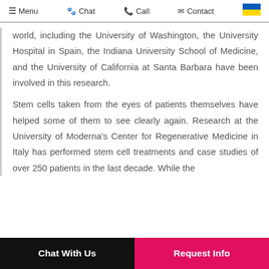Menu  Chat  Call  Contact
world, including the University of Washington, the University Hospital in Spain, the Indiana University School of Medicine, and the University of California at Santa Barbara have been involved in this research.
Stem cells taken from the eyes of patients themselves have helped some of them to see clearly again. Research at the University of Moderna's Center for Regenerative Medicine in Italy has performed stem cell treatments and case studies of over 250 patients in the last decade. While the
Chat With Us   Request Info